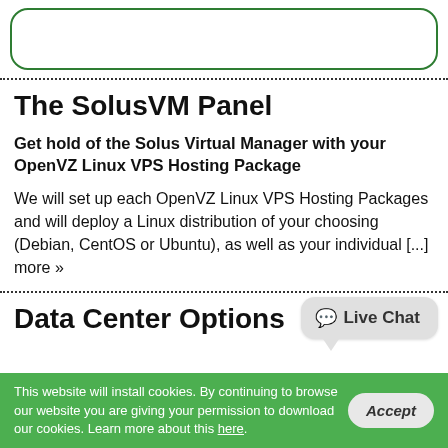[Figure (other): Rounded rectangle box with green border at top of page]
The SolusVM Panel
Get hold of the Solus Virtual Manager with your OpenVZ Linux VPS Hosting Package
We will set up each OpenVZ Linux VPS Hosting Packages and will deploy a Linux distribution of your choosing (Debian, CentOS or Ubuntu), as well as your individual [...] more »
Data Center Options
This website will install cookies. By continuing to browse our website you are giving your permission to download our cookies. Learn more about this here.